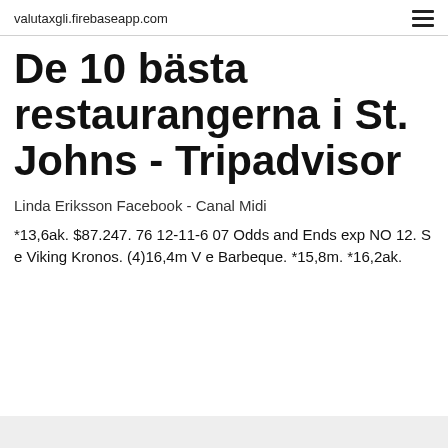valutaxgli.firebaseapp.com
De 10 bästa restaurangerna i St. Johns - Tripadvisor
Linda Eriksson Facebook - Canal Midi
*13,6ak. $87.247. 76 12-11-6 07 Odds and Ends exp NO 12. S e Viking Kronos. (4)16,4m V e Barbeque. *15,8m. *16,2ak.